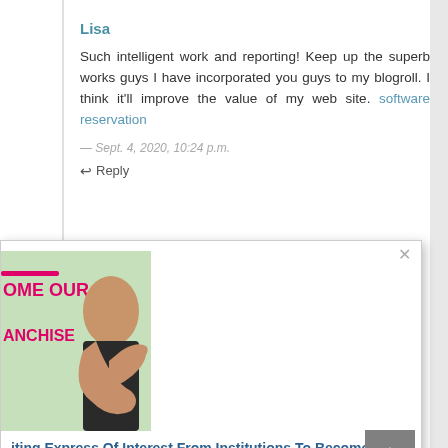Lisa
Such intelligent work and reporting! Keep up the superb works guys I have incorporated you guys to my blogroll. I think it'll improve the value of my web site. software reservation
— Sept. 4, 2020, 10:24 p.m.
Reply
Scarlet mullins
[Figure (photo): Popup advertisement showing a person in a suit extending a handshake, with text partially visible: 'BECOME OUR FRANCHISE']
iting Express Of Interest From Institutions To Become nchise of BSS
Lisa